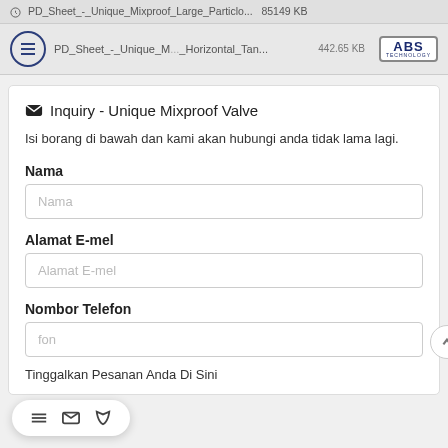PD_Sheet_-_Unique_Mixproof_Large_Particlo... 85149 KB
PD_Sheet_-_Unique_M... _Horizontal_Tan... 442.65 KB
✉ Inquiry - Unique Mixproof Valve
Isi borang di bawah dan kami akan hubungi anda tidak lama lagi.
Nama
Nama
Alamat E-mel
Alamat E-mel
Nombor Telefon
Tinggalkan Pesanan Anda Di Sini